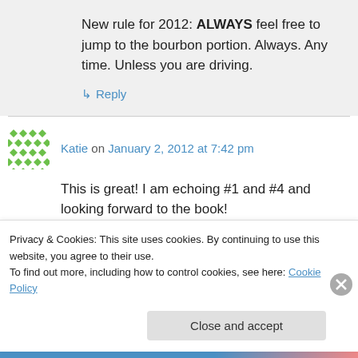New rule for 2012: ALWAYS feel free to jump to the bourbon portion. Always. Any time. Unless you are driving.
↳ Reply
Katie on January 2, 2012 at 7:42 pm
This is great! I am echoing #1 and #4 and looking forward to the book!
↳ Reply
Privacy & Cookies: This site uses cookies. By continuing to use this website, you agree to their use.
To find out more, including how to control cookies, see here: Cookie Policy
Close and accept